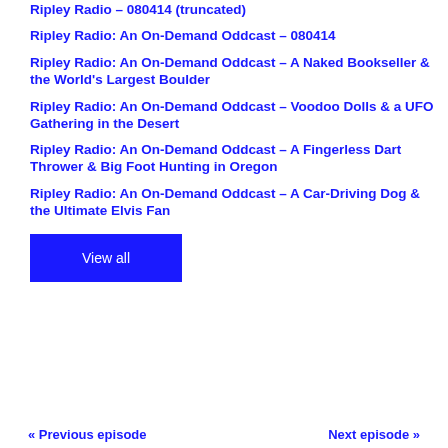Ripley Radio: An On-Demand Oddcast – 080414
Ripley Radio: An On-Demand Oddcast – A Naked Bookseller & the World's Largest Boulder
Ripley Radio: An On-Demand Oddcast – Voodoo Dolls & a UFO Gathering in the Desert
Ripley Radio: An On-Demand Oddcast – A Fingerless Dart Thrower & Big Foot Hunting in Oregon
Ripley Radio: An On-Demand Oddcast – A Car-Driving Dog & the Ultimate Elvis Fan
View all
« Previous episode    Next episode »